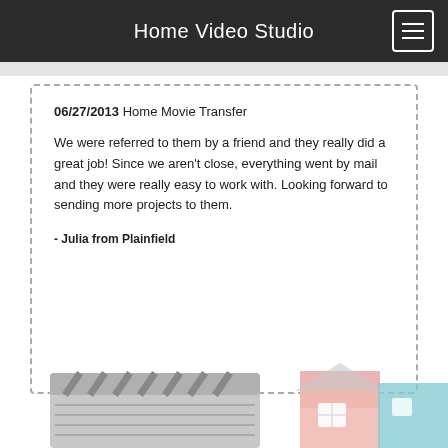Home Video Studio
06/27/2013 Home Movie Transfer

We were referred to them by a friend and they really did a great job! Since we aren't close, everything went by mail and they were really easy to work with. Looking forward to sending more projects to them.

- Julia from Plainfield
[Figure (illustration): Bottom decorative graphic showing a film clapboard and a house illustration in pastel colors (pink, teal, salmon)]